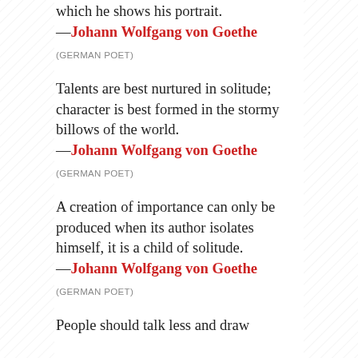which he shows his portrait.
—Johann Wolfgang von Goethe
(GERMAN POET)
Talents are best nurtured in solitude; character is best formed in the stormy billows of the world.
—Johann Wolfgang von Goethe
(GERMAN POET)
A creation of importance can only be produced when its author isolates himself, it is a child of solitude.
—Johann Wolfgang von Goethe
(GERMAN POET)
People should talk less and draw